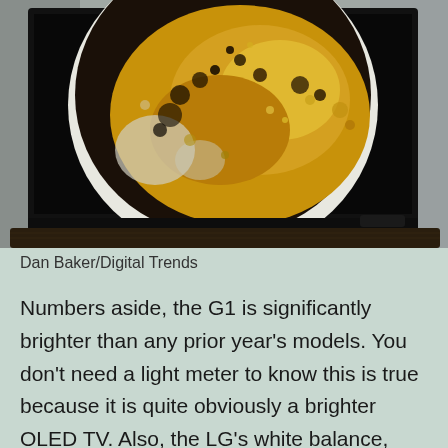[Figure (photo): A television set displaying a large close-up image of bubbling golden liquid (champagne or similar) in a white bowl/glass, placed on a dark wooden stand against a gray background.]
Dan Baker/Digital Trends
Numbers aside, the G1 is significantly brighter than any prior year's models. You don't need a light meter to know this is true because it is quite obviously a brighter OLED TV. Also, the LG's white balance, which influences color accuracy, was spot on out of the box. I didn't